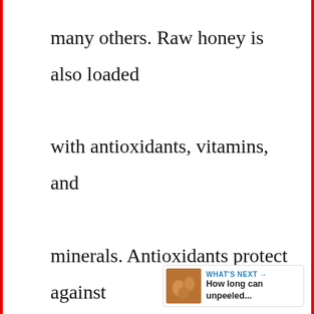many others. Raw honey is also loaded with antioxidants, vitamins, and minerals. Antioxidants protect against free radicals and prevent damage to cells. Vitamins A, C, D, E, B1, B2, [share icon], B6, B12, folic acid, pantothenic...
[Figure (other): A 'What's Next' overlay widget showing a thumbnail image of brown/orange nuts or eggs, with the label 'WHAT'S NEXT →' and the caption 'How long can unpeeled...']